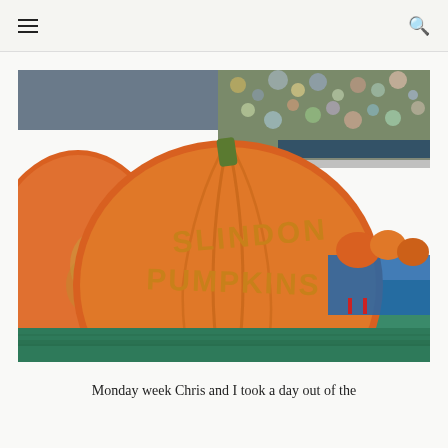☰   🔍
[Figure (photo): A large orange pumpkin with the words 'SLINDON PUMPKINS' carved into its surface, sitting on a green surface. Other pumpkins and colorful displays visible in the background.]
Monday week Chris and I took a day out of the